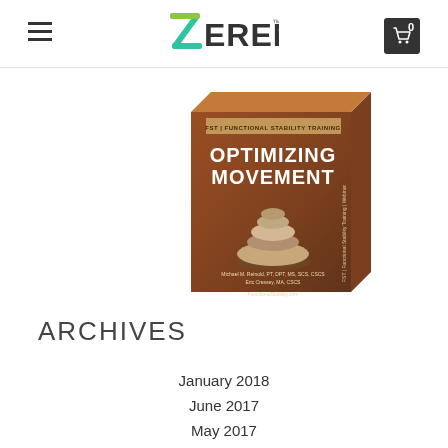ZEREN
[Figure (photo): Book product image: FST Functional Stability Training - Optimizing Movement, by Michael M. Reinold and Eric Cressey]
ARCHIVES
January 2018
June 2017
May 2017
February 2016